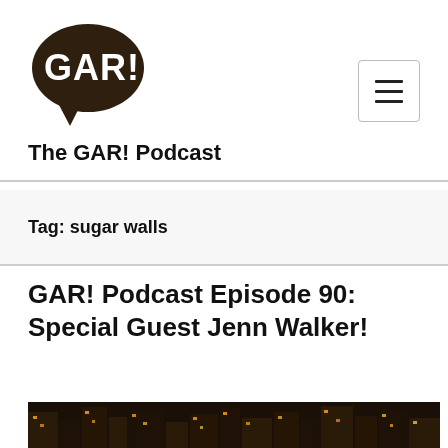[Figure (logo): GAR! podcast logo — dark brown speech bubble with 'GAR!' text in white handwritten style]
The GAR! Podcast
Tag: sugar walls
GAR! Podcast Episode 90: Special Guest Jenn Walker!
[Figure (photo): Night cityscape photo showing illuminated building windows against a dark sky]